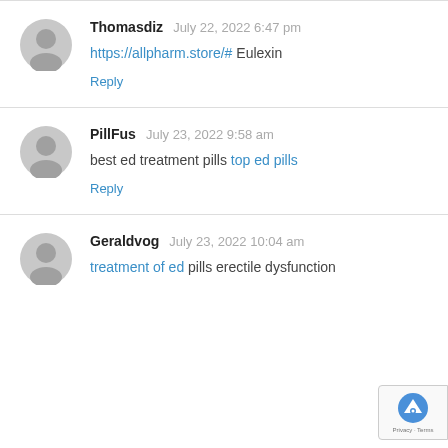Thomasdiz   July 22, 2022 6:47 pm
https://allpharm.store/# Eulexin
Reply
PillFus   July 23, 2022 9:58 am
best ed treatment pills top ed pills
Reply
Geraldvog   July 23, 2022 10:04 am
treatment of ed pills erectile dysfunction